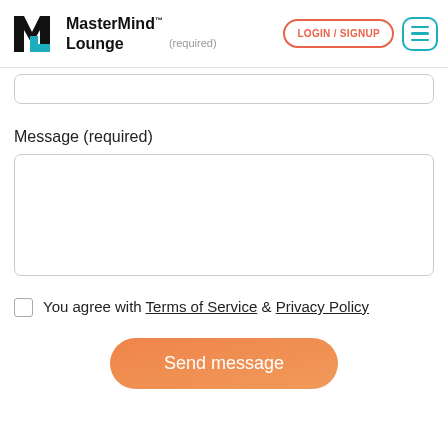MasterMind™ Lounge | LOGIN / SIGNUP | Menu
Message (required)
You agree with Terms of Service & Privacy Policy
Send message